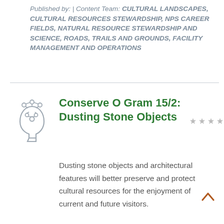Published by: | Content Team: CULTURAL LANDSCAPES, CULTURAL RESOURCES STEWARDSHIP, NPS CAREER FIELDS, NATURAL RESOURCE STEWARDSHIP AND SCIENCE, ROADS, TRAILS AND GROUNDS, FACILITY MANAGEMENT AND OPERATIONS
[Figure (illustration): Gray line illustration of a human head profile with a network/mind map of circles inside and outside the head, suggesting knowledge or cultural resources theme]
Conserve O Gram 15/2: Dusting Stone Objects
[Figure (other): Four gray star rating icons]
Dusting stone objects and architectural features will better preserve and protect cultural resources for the enjoyment of current and future visitors.